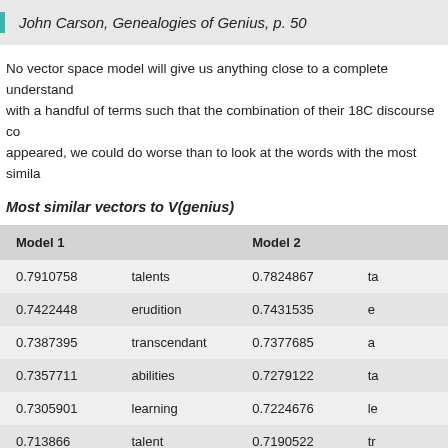John Carson, Genealogies of Genius, p. 50
No vector space model will give us anything close to a complete understanding with a handful of terms such that the combination of their 18C discourse co... appeared, we could do worse than to look at the words with the most simila...
Most similar vectors to V(genius)
| Model 1 |  | Model 2 |  |
| --- | --- | --- | --- |
| 0.7910758 | talents | 0.7824867 | ta |
| 0.7422448 | erudition | 0.7431535 | e |
| 0.7387395 | transcendant | 0.7377685 | a |
| 0.7357711 | abilities | 0.7279122 | ta |
| 0.7305901 | learning | 0.7224676 | le |
| 0.713866 | talent | 0.7190522 | tr |
| 0.7044489 | poetry | 0.7076396 | in |